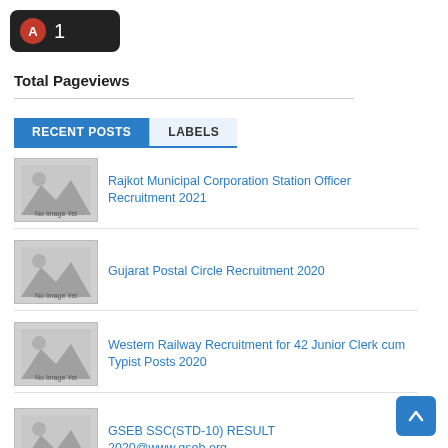[Figure (logo): Black rounded badge with red circular icon showing letter A and number 1]
Total Pageviews
RECENT POSTS | LABELS (tabs)
Rajkot Municipal Corporation Station Officer Recruitment 2021
Gujarat Postal Circle Recruitment 2020
Western Railway Recruitment for 42 Junior Clerk cum Typist Posts 2020
GSEB SSC(STD-10) RESULT 2020@www.gseb.org.